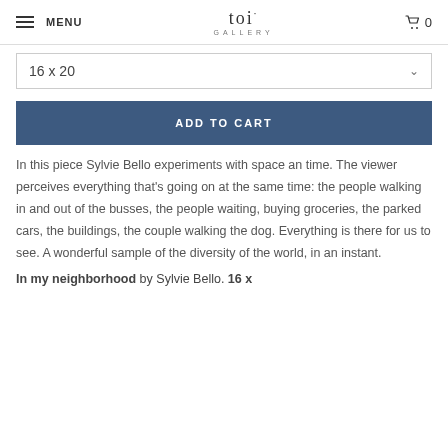MENU  toi GALLERY  0
16 x 20
ADD TO CART
In this piece Sylvie Bello experiments with space an time. The viewer perceives everything that's going on at the same time: the people walking in and out of the busses, the people waiting, buying groceries, the parked cars, the buildings, the couple walking the dog. Everything is there for us to see. A wonderful sample of the diversity of the world, in an instant.
In my neighborhood by Sylvie Bello. 16 x